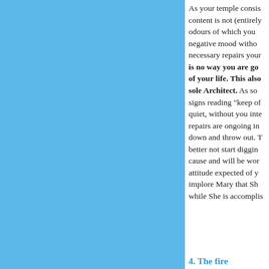[Figure (other): Large light blue rectangular panel occupying the left portion of the page]
As your temple consists of content is not (entirely) odours of which you negative mood without necessary repairs your is no way you are going of your life. This also sole Architect. As so signs reading "keep of quiet, without you in repairs are ongoing in down and throw out. T better not start digging cause and will be work attitude expected of y implore Mary that Sh while She is accompli
4. The fire